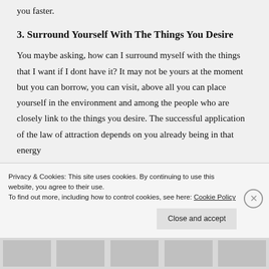you faster.
3. Surround Yourself With The Things You Desire
You maybe asking, how can I surround myself with the things that I want if I dont have it? It may not be yours at the moment but you can borrow, you can visit, above all you can place yourself in the environment and among the people who are closely link to the things you desire. The successful application of the law of attraction depends on you already being in that energy
Privacy & Cookies: This site uses cookies. By continuing to use this website, you agree to their use.
To find out more, including how to control cookies, see here: Cookie Policy
Close and accept